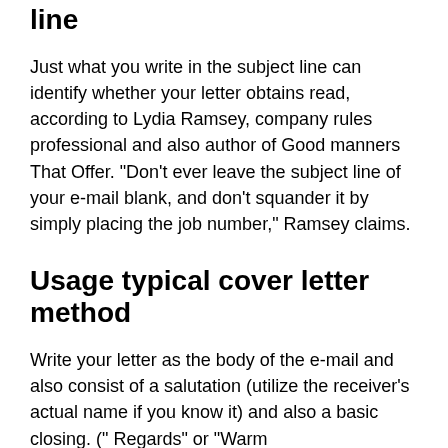line
Just what you write in the subject line can identify whether your letter obtains read, according to Lydia Ramsey, company rules professional and also author of Good manners That Offer. "Don't ever leave the subject line of your e-mail blank, and don't squander it by simply placing the job number," Ramsey claims.
Usage typical cover letter method
Write your letter as the body of the e-mail and also consist of a salutation (utilize the receiver's actual name if you know it) and also a basic closing. (" Regards" or "Warm